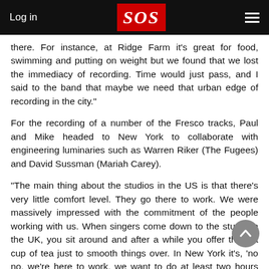Log in | SOS | menu
there. For instance, at Ridge Farm it's great for food, swimming and putting on weight but we found that we lost the immediacy of recording. Time would just pass, and I said to the band that maybe we need that urban edge of recording in the city."
For the recording of a number of the Fresco tracks, Paul and Mike headed to New York to collaborate with engineering luminaries such as Warren Riker (The Fugees) and David Sussman (Mariah Carey).
"The main thing about the studios in the US is that there's very little comfort level. They go there to work. We were massively impressed with the commitment of the people working with us. When singers come down to the studio in the UK, you sit around and after a while you offer them a cup of tea just to smooth things over. In New York it's, 'no no, we're here to work, we want to do at least two hours before we take a break'. Impressive."
Perfect Pop?
Whatever your opinion of the M People, it's hard to think of